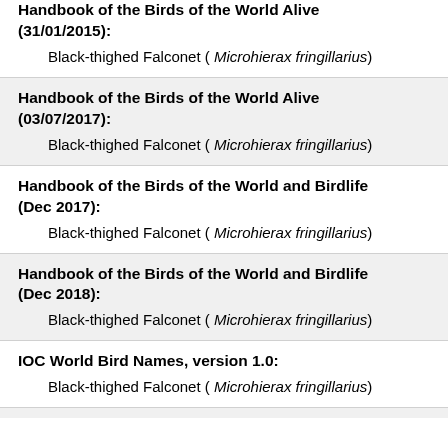Handbook of the Birds of the World Alive (31/01/2015):
Black-thighed Falconet ( Microhierax fringillarius)
Handbook of the Birds of the World Alive (03/07/2017):
Black-thighed Falconet ( Microhierax fringillarius)
Handbook of the Birds of the World and Birdlife (Dec 2017):
Black-thighed Falconet ( Microhierax fringillarius)
Handbook of the Birds of the World and Birdlife (Dec 2018):
Black-thighed Falconet ( Microhierax fringillarius)
IOC World Bird Names, version 1.0:
Black-thighed Falconet ( Microhierax fringillarius)